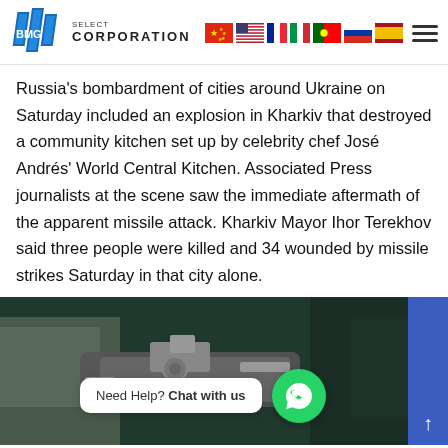BMG Select Corporation — navigation header with language flags
Russia's bombardment of cities around Ukraine on Saturday included an explosion in Kharkiv that destroyed a community kitchen set up by celebrity chef José Andrés' World Central Kitchen. Associated Press journalists at the scene saw the immediate aftermath of the apparent missile attack. Kharkiv Mayor Ihor Terekhov said three people were killed and 34 wounded by missile strikes Saturday in that city alone.
[Figure (photo): Aerial photograph showing what appears to be a ship or vessel, viewed from above, surrounded by dark water. A chat widget overlay appears at the bottom: 'Need Help? Chat with us' with a WhatsApp button. A blue scroll-up arrow button is on the right edge.]